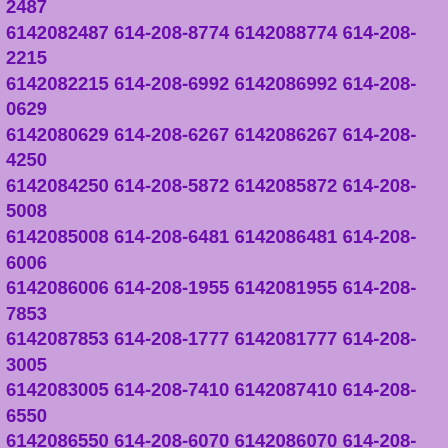6142089481 614-208-9141 6142089141 614-208-9806 6142089806 614-208-3482 6142083482 614-208-2786 6142082786 614-208-6049 6142086049 614-208-7627 6142087627 614-208-3376 6142083376 614-208-0320 6142080320 614-208-6573 6142086573 614-208-5807 6142085807 614-208-8729 6142088729 614-208-2487 6142082487 614-208-8774 6142088774 614-208-2215 6142082215 614-208-6992 6142086992 614-208-0629 6142080629 614-208-6267 6142086267 614-208-4250 6142084250 614-208-5872 6142085872 614-208-5008 6142085008 614-208-6481 6142086481 614-208-6006 6142086006 614-208-1955 6142081955 614-208-7853 6142087853 614-208-1777 6142081777 614-208-3005 6142083005 614-208-7410 6142087410 614-208-6550 6142086550 614-208-6070 6142086070 614-208-0700 6142080700 614-208-2127 6142082127 614-208-2414 6142082414 614-208-4607 6142084607 614-208-1271 6142081271 614-208-7424 6142087424 614-208-3740 6142083740 614-208-8703 6142088703 614-208-5854 6142085854 614-208-2066 6142082066 614-208-7536